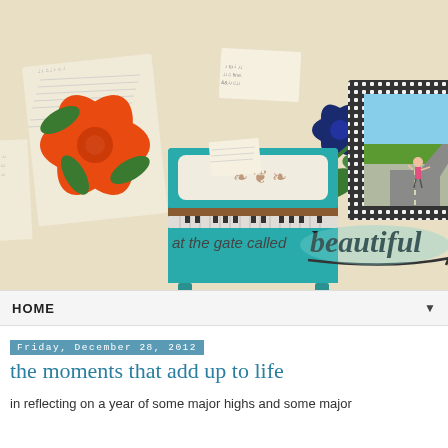[Figure (illustration): Blog header banner titled 'at the gate called beautiful' featuring a teal upright piano, large orange/red flower illustration, blue flower illustration, dark green leaf motifs, a framed photo of a child walking down a road, a decorative patterned photo frame, script lettering 'beautiful', sheet music background elements, and printed text 'at the gate called beautiful'.]
HOME
Friday, December 28, 2012
the moments that add up to life
in reflecting on a year of some major highs and some major